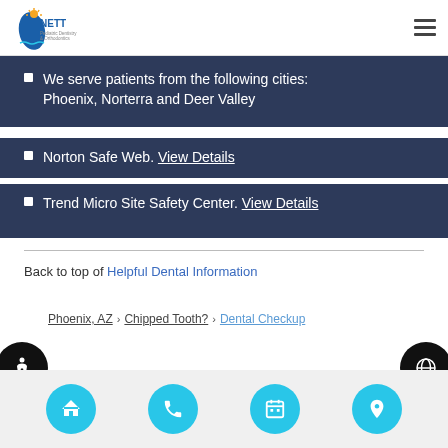NETT Pediatric Dentistry & Orthodontics — navigation header
We serve patients from the following cities: Phoenix, Norterra and Deer Valley
Norton Safe Web. View Details
Trend Micro Site Safety Center. View Details
Back to top of Helpful Dental Information
Phoenix, AZ > Chipped Tooth? > Dental Checkup
Bottom navigation bar with home, phone, calendar, and location icons